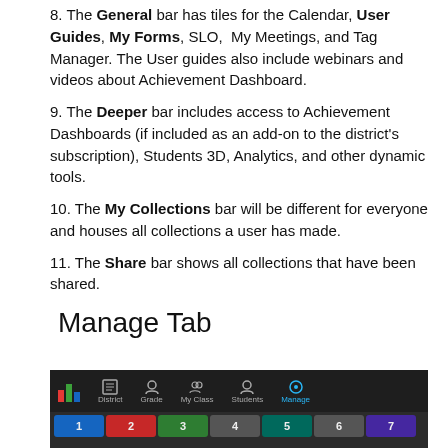8. The General bar has tiles for the Calendar, User Guides, My Forms, SLO, My Meetings, and Tag Manager. The User guides also include webinars and videos about Achievement Dashboard.
9. The Deeper bar includes access to Achievement Dashboards (if included as an add-on to the district's subscription), Students 3D, Analytics, and other dynamic tools.
10. The My Collections bar will be different for everyone and houses all collections a user has made.
11. The Share bar shows all collections that have been shared.
Manage Tab
[Figure (screenshot): Screenshot of a navigation bar in a dark-themed application showing tabs: District, Grade, My Class, Students, and Manage (active/highlighted in blue). Below this is a row of numbered tab blocks in various colors.]